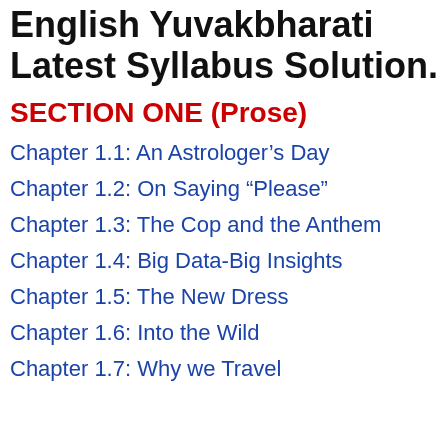English Yuvakbharati Latest Syllabus Solution.
SECTION ONE (Prose)
Chapter 1.1: An Astrologer’s Day
Chapter 1.2: On Saying “Please”
Chapter 1.3: The Cop and the Anthem
Chapter 1.4: Big Data-Big Insights
Chapter 1.5: The New Dress
Chapter 1.6: Into the Wild
Chapter 1.7: Why we Travel